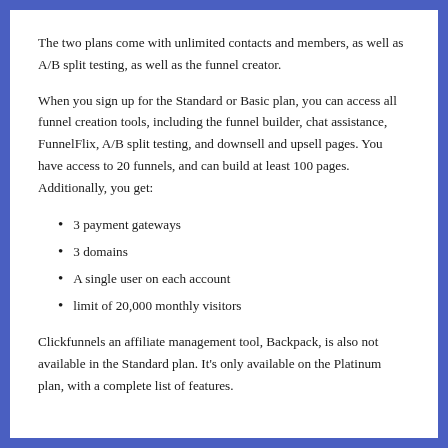The two plans come with unlimited contacts and members, as well as A/B split testing, as well as the funnel creator.
When you sign up for the Standard or Basic plan, you can access all funnel creation tools, including the funnel builder, chat assistance, FunnelFlix, A/B split testing, and downsell and upsell pages. You have access to 20 funnels, and can build at least 100 pages. Additionally, you get:
3 payment gateways
3 domains
A single user on each account
limit of 20,000 monthly visitors
Clickfunnels an affiliate management tool, Backpack, is also not available in the Standard plan. It's only available on the Platinum plan, with a complete list of features.